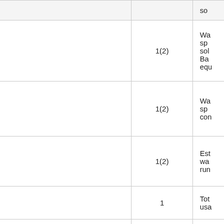| Name | Size | Description |
| --- | --- | --- |
| BATEMAN_SOLUTION_TIME | 1(2) | Wa... spe... sol... Ba... equ... |
| MPI_OVERHEAD_TIME | 1(2) | Wa... spe... com... |
| ESTIMATED_RUNNING_TIME | 1(2) | Est... wa... run... |
| CPU_USAGE | 1 | Tot... usa... |
| TRANSPORT_CPU_USAGE | 1(2) | CP... fra... tra... sim... |